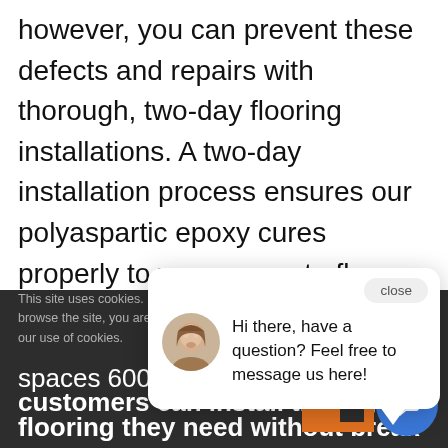however, you can prevent these defects and repairs with thorough, two-day flooring installations. A two-day installation process ensures our polyaspartic epoxy cures properly to your concrete floor and forms a high-strength bond.
[Figure (screenshot): Chat popup with close button, avatar photo of a woman, and message: Hi there, have a question? Feel free to message us here!]
Our flooring installations start at $6.95 per sq... series of dis... spaces 600...
This site uses cookies. By continuing to browse the site, you are agreeing to our use of cookies.
customers can install the high-q... flooring they need without break... bank. Here is an example of our discounts: